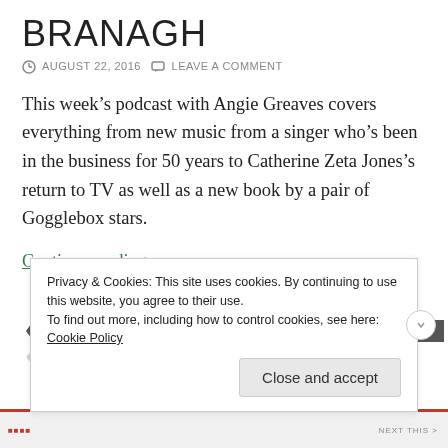BRANAGH
AUGUST 22, 2016   LEAVE A COMMENT
This week’s podcast with Angie Greaves covers everything from new music from a singer who’s been in the business for 50 years to Catherine Zeta Jones’s return to TV as well as a new book by a pair of Gogglebox stars.
Continue reading →
A TRIBE CALLED QUEST   ALEXANDER SKARSGARD   AUDIO
Privacy & Cookies: This site uses cookies. By continuing to use this website, you agree to their use.
To find out more, including how to control cookies, see here: Cookie Policy
Close and accept